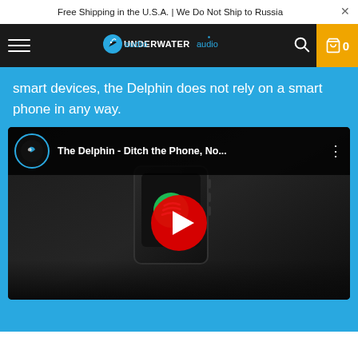Free Shipping in the U.S.A. | We Do Not Ship to Russia
[Figure (screenshot): Underwater Audio website navigation bar with hamburger menu, logo, search icon, and cart showing 0 items]
smart devices, the Delphin does not rely on a smart phone in any way.
[Figure (screenshot): YouTube video embed thumbnail showing 'The Delphin - Ditch the Phone, No...' with a device showing Spotify logo and YouTube play button overlay]